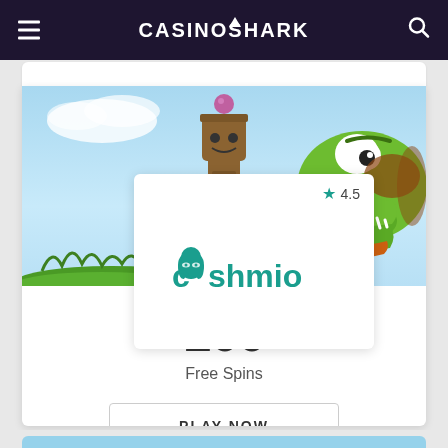CASINOSHARK
[Figure (screenshot): Cashmio casino promotional card with game banner showing cartoon crocodile and totem pole characters on sky background, overlaid with Cashmio logo card showing 4.5 star rating]
4.5
200
Free Spins
PLAY NOW